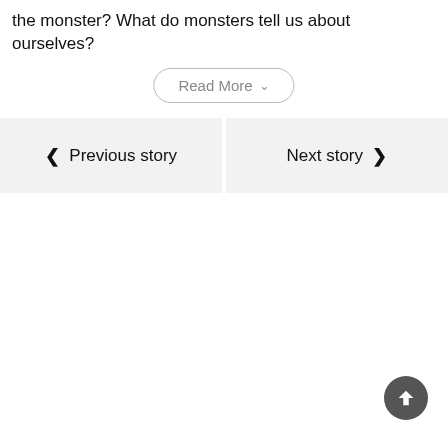the monster? What do monsters tell us about ourselves?
Read More ∨
❮ Previous story
Next story ❯